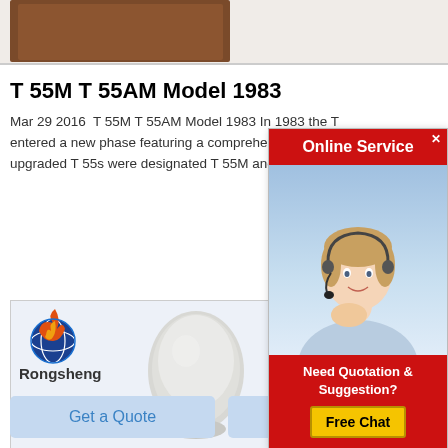[Figure (photo): Top strip showing partial brown object on white background]
T 55M T 55AM Model 1983
Mar 29 2016  T 55M T 55AM Model 1983 In 1983 the T entered a new phase featuring a comprehensive rebuild upgraded T 55s were designated T 55M and upgraded
[Figure (screenshot): Online Service popup with agent photo, red header saying Online Service, and Free Chat button]
[Figure (photo): Rongsheng branded product image showing a white chalky egg-shaped solid material on a pedestal, on a light blue background]
Get a Quote
Chat Now